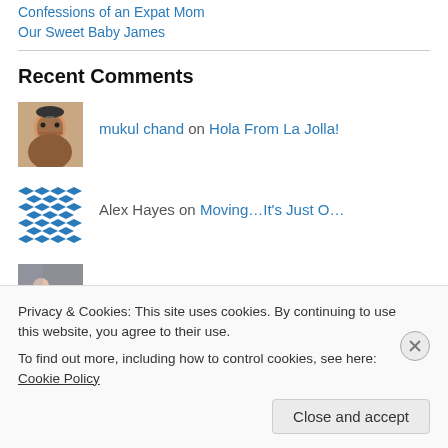Confessions of an Expat Mom
Our Sweet Baby James
Recent Comments
mukul chand on Hola From La Jolla!
Alex Hayes on Moving…It's Just O…
Ingela Johansson on My (Singapore) Bucket List
Privacy & Cookies: This site uses cookies. By continuing to use this website, you agree to their use.
To find out more, including how to control cookies, see here: Cookie Policy
Close and accept